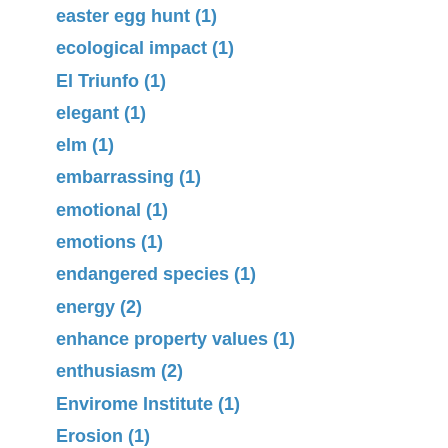easter egg hunt (1)
ecological impact (1)
El Triunfo (1)
elegant (1)
elm (1)
embarrassing (1)
emotional (1)
emotions (1)
endangered species (1)
energy (2)
enhance property values (1)
enthusiasm (2)
Envirome Institute (1)
Erosion (1)
evapotranspiration (1)
evidence (1)